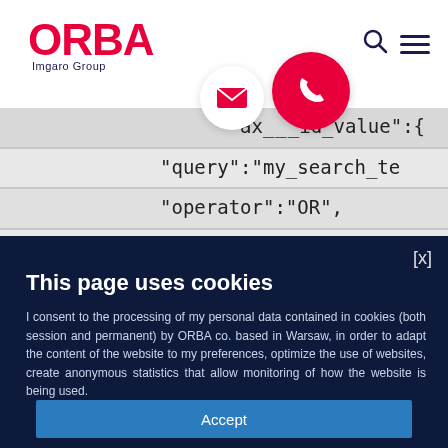[Figure (screenshot): ORBA Imgaro Group logo in red and dark navy, with search icon and hamburger menu in top right]
[Figure (screenshot): White circular email icon bubble and red circular phone icon bubble overlapping the header]
[Figure (screenshot): Code snippet background showing JSON-like text: ax__id_value":{ "query":"my_search_te  "operator":"OR",  "prefix_length":0]
This page uses cookies
I consent to the processing of my personal data contained in cookies (both session and permanent) by ORBA co. based in Warsaw, in order to adapt the content of the website to my preferences, optimize the use of websites, create anonymous statistics that allow monitoring of how the website is being used.
Accept